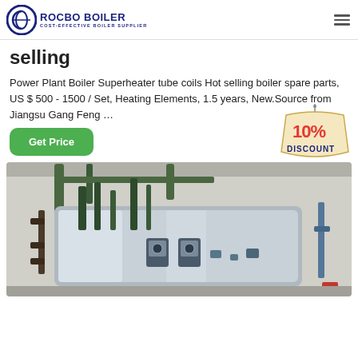ROCBO BOILER - COST-EFFECTIVE BOILER SUPPLIER
selling
Power Plant Boiler Superheater tube coils Hot selling boiler spare parts, US $ 500 - 1500 / Set, Heating Elements, 1.5 years, New.Source from Jiangsu Gang Feng …
[Figure (illustration): 10% DISCOUNT badge graphic]
[Figure (photo): Industrial boiler room with pipes and control equipment mounted on a large cylindrical metal boiler tank]